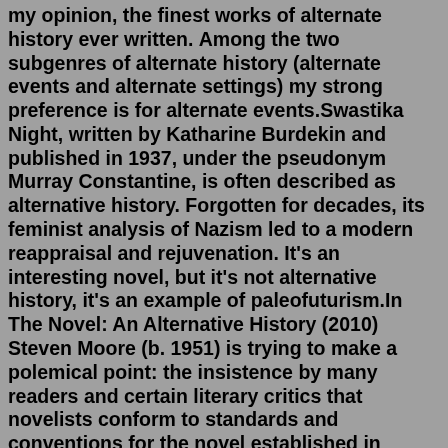my opinion, the finest works of alternate history ever written. Among the two subgenres of alternate history (alternate events and alternate settings) my strong preference is for alternate events.Swastika Night, written by Katharine Burdekin and published in 1937, under the pseudonym Murray Constantine, is often described as alternative history. Forgotten for decades, its feminist analysis of Nazism led to a modern reappraisal and rejuvenation. It's an interesting novel, but it's not alternative history, it's an example of paleofuturism.In The Novel: An Alternative History (2010) Steven Moore (b. 1951) is trying to make a polemical point: the insistence by many readers and certain literary critics that novelists conform to standards and conventions for the novel established in Europe in the 19th century is unnecessarily limiting and ignores the actual development of the novel through different times and cultures, a veritable ... Genre: Alternative History. Quick Look. Play Sample. Ode To Defiance. by Marc Stiegler. List: $14.99. Sale: $10.50. Club: $7.49. The